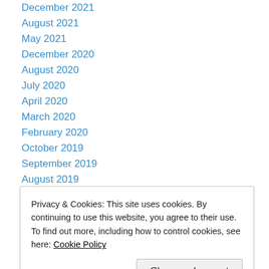December 2021
August 2021
May 2021
December 2020
August 2020
July 2020
April 2020
March 2020
February 2020
October 2019
September 2019
August 2019
July 2019
Privacy & Cookies: This site uses cookies. By continuing to use this website, you agree to their use. To find out more, including how to control cookies, see here: Cookie Policy
Close and accept